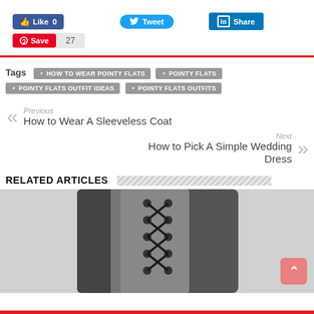[Figure (screenshot): Social media sharing buttons: Facebook Like (0), Twitter Tweet, LinkedIn Share]
[Figure (screenshot): Pinterest Save button with count 27]
Tags • HOW TO WEAR POINTY FLATS • POINTY FLATS • POINTY FLATS OUTFIT IDEAS • POINTY FLATS OUTFITS
Previous
How to Wear A Sleeveless Coat
Next
How to Pick A Simple Wedding Dress
RELATED ARTICLES
[Figure (photo): Close-up photo of gray and black lace-up boot/shoe]